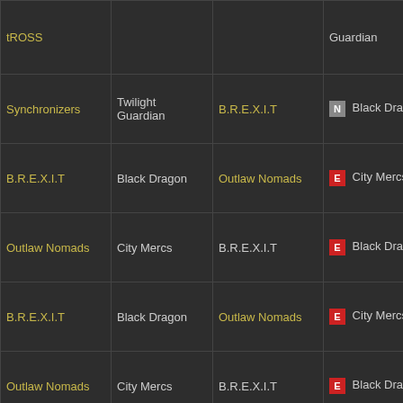| Team 1 | Team 2 | Team 3 | Winner | Date |
| --- | --- | --- | --- | --- |
| tROSS |  |  | Guardian | 11:
(UT |
| Synchronizers | Twilight Guardian | B.R.E.X.I.T | N Black Dragon | Fri Jun 201 22:
(UT |
| B.R.E.X.I.T | Black Dragon | Outlaw Nomads | E City Mercs | Thu Ma 201 20:
(UT |
| Outlaw Nomads | City Mercs | B.R.E.X.I.T | E Black Dragon | Thu Ma 201 13:
(UT |
| B.R.E.X.I.T | Black Dragon | Outlaw Nomads | E City Mercs | We Apr 201 21:
(UT |
| Outlaw Nomads | City Mercs | B.R.E.X.I.T | E Black Dragon | Fri Apr 201 22:
(UT |
|  |  |  |  | Tu |